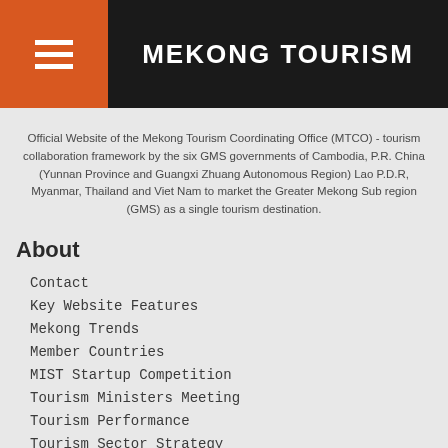MEKONG TOURISM
Official Website of the Mekong Tourism Coordinating Office (MTCO) - tourism collaboration framework by the six GMS governments of Cambodia, P.R. China (Yunnan Province and Guangxi Zhuang Autonomous Region) Lao P.D.R, Myanmar, Thailand and Viet Nam to market the Greater Mekong Sub region (GMS) as a single tourism destination.
About
Contact
Key Website Features
Mekong Trends
Member Countries
MIST Startup Competition
Tourism Ministers Meeting
Tourism Performance
Tourism Sector Strategy
Tourism Working Group